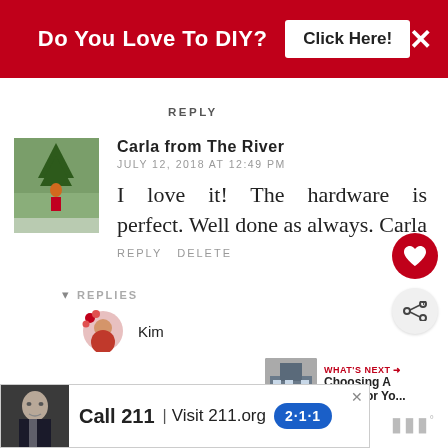[Figure (screenshot): Red ad banner at top: 'Do You Love To DIY?' with 'Click Here!' button and X close icon]
REPLY
[Figure (photo): Avatar photo of Carla from The River - person in winter scene]
Carla from The River
JULY 12, 2018 AT 12:49 PM
I love it! The hardware is perfect. Well done as always.
Carla
REPLY DELETE
[Figure (infographic): What's Next widget showing thumbnail of building and text 'WHAT'S NEXT → Choosing A Color For Yo...']
▼ REPLIES
[Figure (photo): Small avatar icon with heart/flower decoration]
Kim
[Figure (screenshot): Bottom ad banner: photo of man, 'Call 211 | Visit 211.org' with 211 blue badge logo]